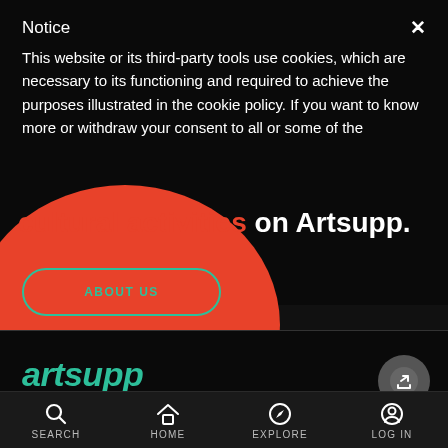Notice
This website or its third-party tools use cookies, which are necessary to its functioning and required to achieve the purposes illustrated in the cookie policy. If you want to know more or withdraw your consent to all or some of the cultural activities on Artsupp.
[Figure (illustration): Large orange/red circular blob graphic overlapping the lower portion of the cookie notice, with 'cultural activities' text in orange and 'on Artsupp.' in white overlaid.]
ABOUT US
artsupp
Restart S.r.l
SEARCH  HOME  EXPLORE  LOG IN